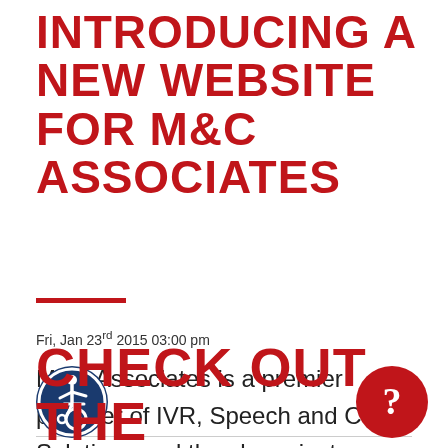INTRODUCING A NEW WEBSITE FOR M&C ASSOCIATES
Fri, Jan 23rd 2015 03:00 pm
M&C Associates is a premier provider of IVR, Speech and CTI Solutions and they have just launched their new website on our Fission Content Management System.
READ FULL ARTICLE →
[Figure (illustration): Accessibility icon — blue circle with wheelchair user symbol in white]
[Figure (illustration): Red circular help/question mark button]
CHECK OUT THE